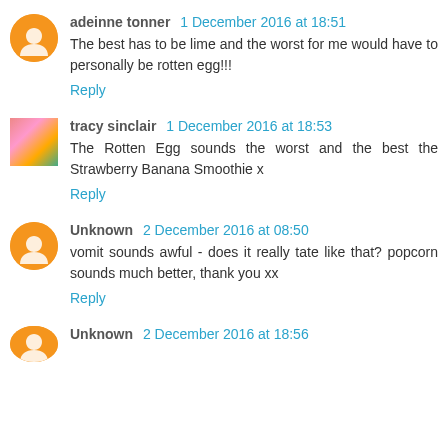adeinne tonner 1 December 2016 at 18:51
The best has to be lime and the worst for me would have to personally be rotten egg!!!
Reply
tracy sinclair 1 December 2016 at 18:53
The Rotten Egg sounds the worst and the best the Strawberry Banana Smoothie x
Reply
Unknown 2 December 2016 at 08:50
vomit sounds awful - does it really tate like that? popcorn sounds much better, thank you xx
Reply
Unknown 2 December 2016 at 18:56